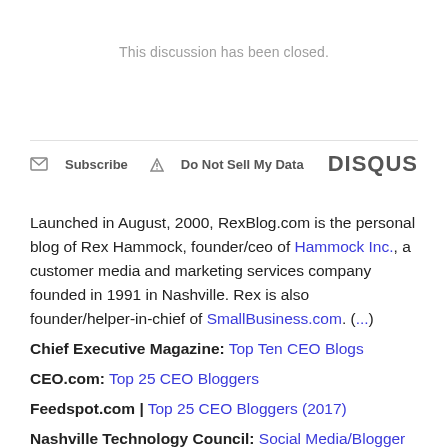This discussion has been closed.
Subscribe   Do Not Sell My Data   DISQUS
Launched in August, 2000, RexBlog.com is the personal blog of Rex Hammock, founder/ceo of Hammock Inc., a customer media and marketing services company founded in 1991 in Nashville. Rex is also founder/helper-in-chief of SmallBusiness.com. (...)
Chief Executive Magazine: Top Ten CEO Blogs
CEO.com: Top 25 CEO Bloggers
Feedspot.com | Top 25 CEO Bloggers (2017)
Nashville Technology Council: Social Media/Blogger of the